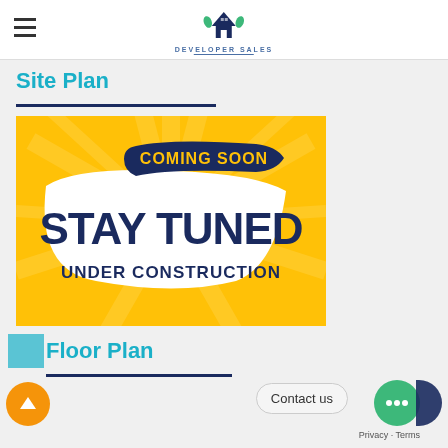Developer Sales
Site Plan
[Figure (illustration): Coming Soon – Stay Tuned – Under Construction graphic: yellow background with sunburst rays, navy ribbon banner at top reading COMING SOON in gold text, large bold navy text STAY TUNED, and below that UNDER CONSTRUCTION in bold navy uppercase text on a white swoosh shape.]
Floor Plan
Contact us
Privacy · Terms